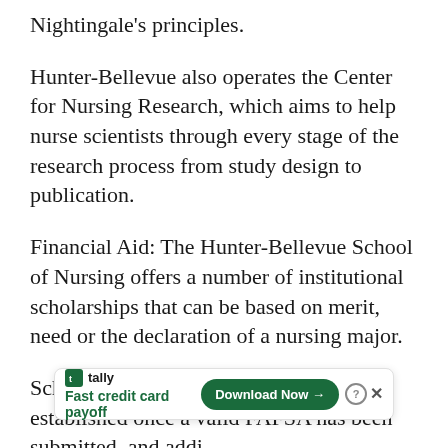Nightingale's principles.
Hunter-Bellevue also operates the Center for Nursing Research, which aims to help nurse scientists through every stage of the research process from study design to publication.
Financial Aid: The Hunter-Bellevue School of Nursing offers a number of institutional scholarships that can be based on merit, need or the declaration of a nursing major.
Scholarship eligibility can only be established once a valid FAFSA has been submitted, and addi        tion  including the New York              P)